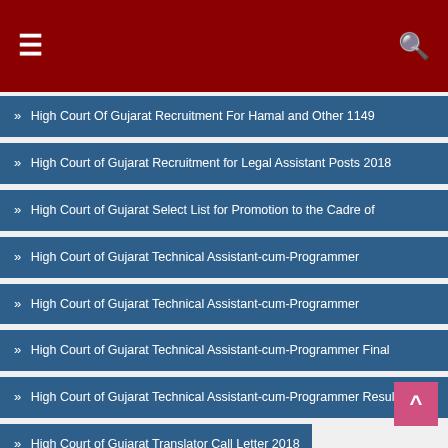≡  [header bar with search icon]
High Court Of Gujarat Recruitment For Hamal and Other 1149
High Court of Gujarat Recruitment for Legal Assistant Posts 2018
High Court of Gujarat Select List for Promotion to the Cadre of
High Court of Gujarat Technical Assistant-cum-Programmer
High Court of Gujarat Technical Assistant-cum-Programmer
High Court of Gujarat Technical Assistant-cum-Programmer Final
High Court of Gujarat Technical Assistant-cum-Programmer Result
High Court of Gujarat Translator Call Letter 2018
High Court of Gujarat Translator Provisional List of Eligible
high court process server result
Himatnagar Recruitment for Medical Officer Post 2018
History Of Tiranga History Of Indian National Flag Useful for All